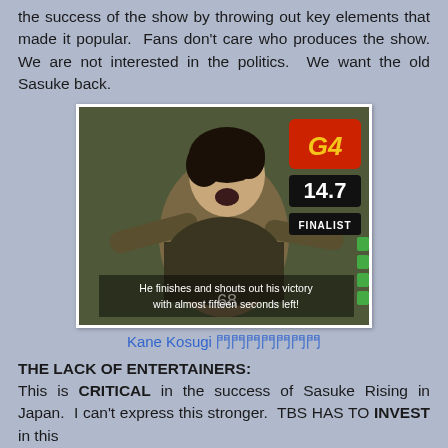the success of the show by throwing out key elements that made it popular. Fans don't care who produces the show. We are not interested in the politics. We want the old Sasuke back.
[Figure (photo): A man (Kane Kosugi) shouting in celebration with arms outstretched wearing a dark t-shirt. The screen overlay shows G4 logo in red, score 14.7, and a black bar reading FINALIST. Text overlay at bottom reads: He finishes and shouts out his victory with almost fifteen seconds left!]
Kane Kosugi 古城門門門門門門
THE LACK OF ENTERTAINERS:
This is CRITICAL in the success of Sasuke Rising in Japan. I can't express this stronger. TBS HAS TO INVEST in this